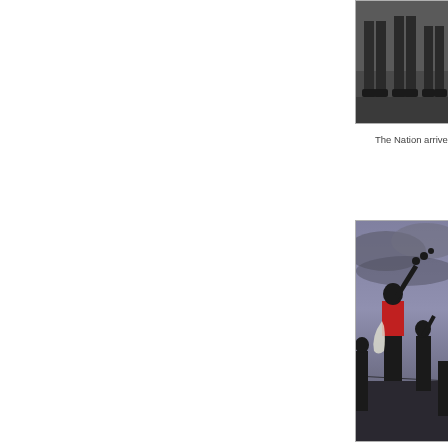[Figure (photo): Cropped photo showing legs and feet of people standing on a road, partial view cut at top of frame]
The Nation arrived to
[Figure (photo): Silhouette of people dancing or celebrating against a dramatic cloudy sky, one person in red top raising an arm with objects]
[Figure (photo): Crowd scene with a man in a suit visible prominently among a crowd of people outdoors]